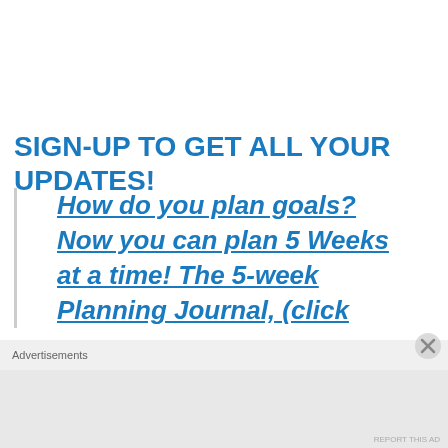SIGN-UP TO GET ALL YOUR UPDATES!
How do you plan goals? Now you can plan 5 Weeks at a time! The 5-week Planning Journal, (click
Advertisements
REPORT THIS AD